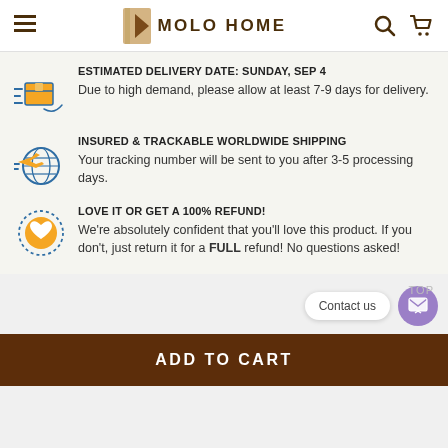MOLO HOME
ESTIMATED DELIVERY DATE: SUNDAY, SEP 4
Due to high demand, please allow at least 7-9 days for delivery.
INSURED & TRACKABLE WORLDWIDE SHIPPING
Your tracking number will be sent to you after 3-5 processing days.
LOVE IT OR GET A 100% REFUND!
We're absolutely confident that you'll love this product. If you don't, just return it for a FULL refund! No questions asked!
Contact us
ADD TO CART